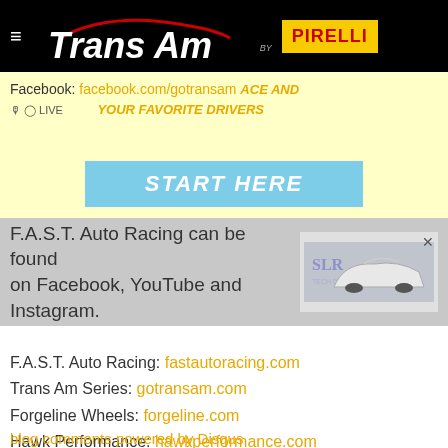Trans Am by Pirelli
Facebook: facebook.com/gotransam
FOLLOW THE RACE AND YOUR FAVORITE DRIVERS
START HERE
F.A.S.T. Auto Racing can be found on Facebook, YouTube and Instagram.
[Figure (photo): Advertisement showing a racing car, with SLR branding]
F.A.S.T. Auto Racing: fastautoracing.com
Trans Am Series: gotransam.com
Forgeline Wheels: forgeline.com
Hawk Performance: hawkperformance.com
blog comments powered by Disqus